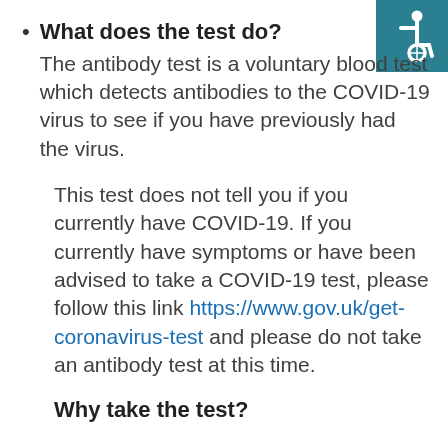[Figure (logo): Accessibility icon (wheelchair symbol) in white on teal/dark cyan square background, positioned top-right corner]
What does the test do?
The antibody test is a voluntary blood test which detects antibodies to the COVID-19 virus to see if you have previously had the virus.
This test does not tell you if you currently have COVID-19. If you currently have symptoms or have been advised to take a COVID-19 test, please follow this link https://www.gov.uk/get-coronavirus-test and please do not take an antibody test at this time.
Why take the test?